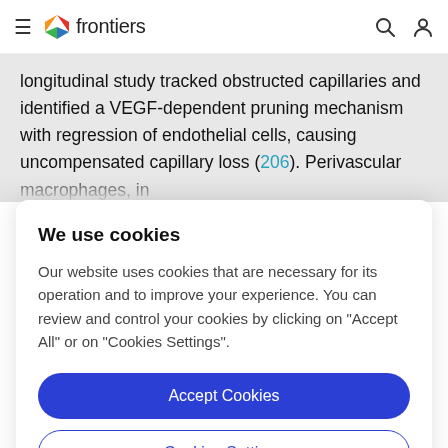frontiers
longitudinal study tracked obstructed capillaries and identified a VEGF-dependent pruning mechanism with regression of endothelial cells, causing uncompensated capillary loss (206). Perivascular macrophages, in
We use cookies
Our website uses cookies that are necessary for its operation and to improve your experience. You can review and control your cookies by clicking on "Accept All" or on "Cookies Settings".
Accept Cookies
Cookies Settings